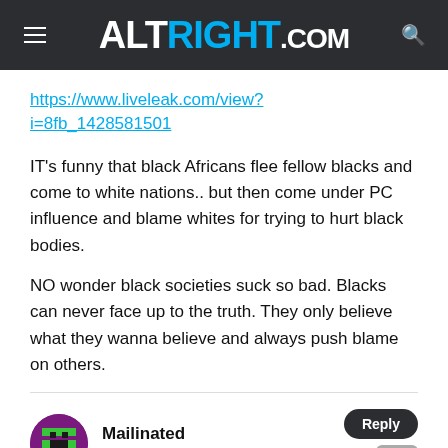ALTRIGHT.COM
https://www.liveleak.com/view?i=8fb_1428581501
IT's funny that black Africans flee fellow blacks and come to white nations.. but then come under PC influence and blame whites for trying to hurt black bodies.
NO wonder black societies suck so bad. Blacks can never face up to the truth. They only believe what they wanna believe and always push blame on others.
Mailinated
March 11, 2017 at 9:04 pm